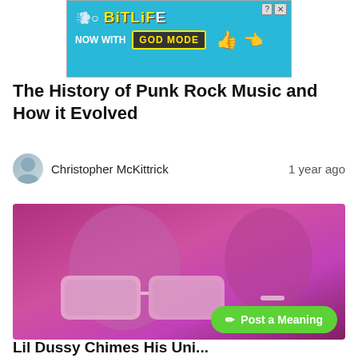[Figure (screenshot): BitLife advertisement banner with 'NOW WITH GOD MODE' text on blue background]
The History of Punk Rock Music and How it Evolved
Christopher McKittrick   1 year ago
[Figure (photo): Pink/magenta tinted photo of a person wearing large white sunglasses]
Lil Dussy Chimes His Uni...